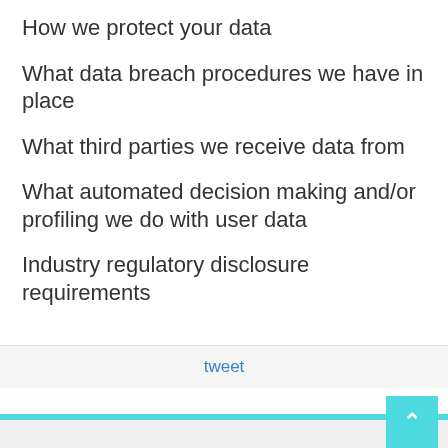How we protect your data
What data breach procedures we have in place
What third parties we receive data from
What automated decision making and/or profiling we do with user data
Industry regulatory disclosure requirements
tweet